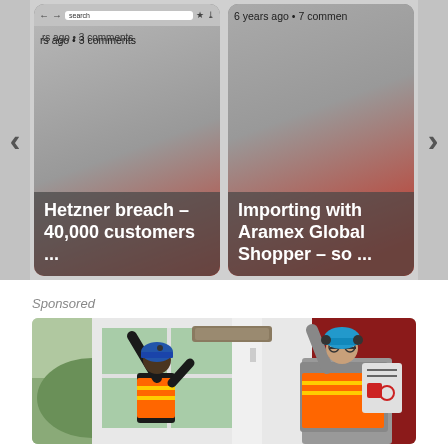[Figure (screenshot): Carousel of two article cards. Left card: '...rs ago • 3 comments' with title 'Hetzner breach – 40,000 customers ...'. Right card: '6 years ago • 7 comments' with title 'Importing with Aramex Global Shopper – so ...'. Navigation arrows on left and right sides.]
Sponsored
[Figure (photo): Photo of two workers wearing blue helmets and orange hi-vis vests installing or handling a large window/door frame. Left worker is reaching up with a tool, right worker is holding the top of the frame. Background shows a red wall on the right and greenery outside on the left.]